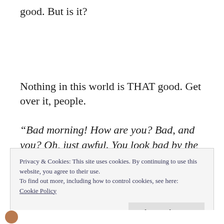good.  But is it?
Nothing in this world is THAT good.  Get over it, people.
“Bad morning!  How are you?  Bad, and you?  Oh, just awful.  You look bad by the way.  Well, fuck
Privacy & Cookies: This site uses cookies. By continuing to use this website, you agree to their use.
To find out more, including how to control cookies, see here:
Cookie Policy
Close and accept